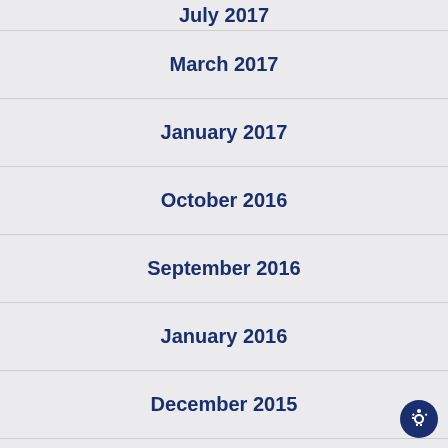July 2017
March 2017
January 2017
October 2016
September 2016
January 2016
December 2015